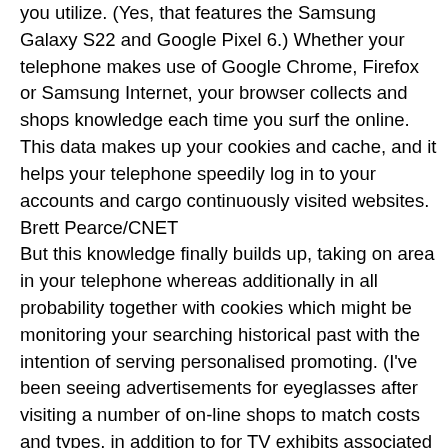you utilize. (Yes, that features the Samsung Galaxy S22 and Google Pixel 6.) Whether your telephone makes use of Google Chrome, Firefox or Samsung Internet, your browser collects and shops knowledge each time you surf the online. This data makes up your cookies and cache, and it helps your telephone speedily log in to your accounts and cargo continuously visited websites.
Brett Pearce/CNET
But this knowledge finally builds up, taking on area in your telephone whereas additionally in all probability together with cookies which might be monitoring your searching historical past with the intention of serving personalised promoting. (I've been seeing advertisements for eyeglasses after visiting a number of on-line shops to match costs and types, in addition to for TV exhibits associated to my YouTube searches.)It does not harm to sometimes clear this knowledge out with the intention to maintain your net browser lean, operating effectively and